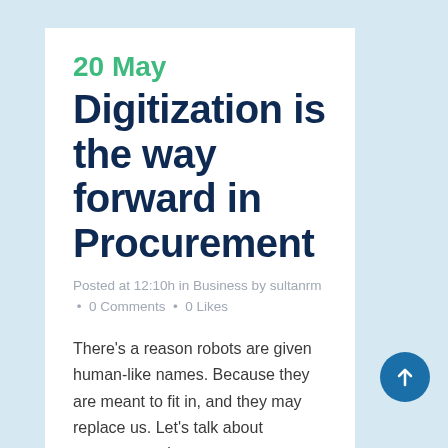20 May
Digitization is the way forward in Procurement
Posted at 12:10h in Business by sultanrm • 0 Comments • 0 Likes
There's a reason robots are given human-like names. Because they are meant to fit in, and they may replace us. Let's talk about procurement in